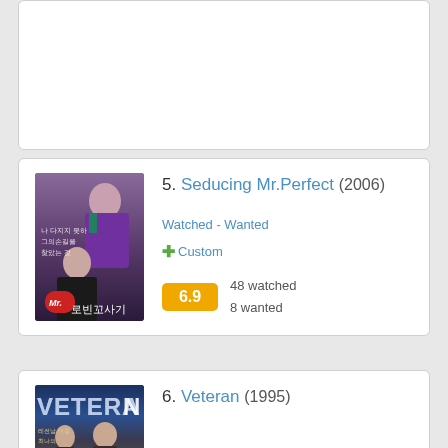5. Seducing Mr.Perfect (2006)
Watched - Wanted
+ Custom
6.9  48 watched  8 wanted
6. Veteran (1995)
Watched - Wanted